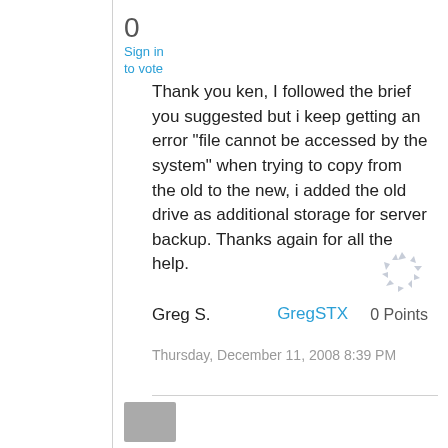0
Sign in to vote
Thank you ken, I followed the brief you suggested but i keep getting an error "file cannot be accessed by the system" when trying to copy from the old to the new, i added the old drive as additional storage for server backup. Thanks again for all the help.

Greg S.
Thursday, December 11, 2008 8:39 PM
GregSTX  0 Points